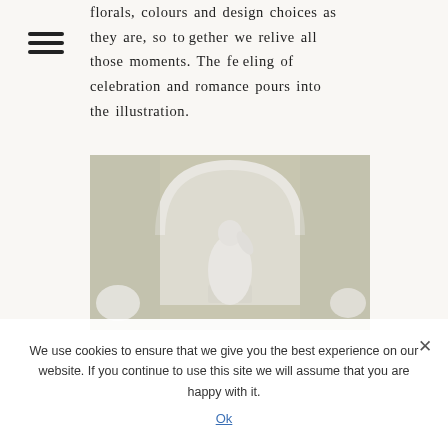florals, colours and design choices as they are, so together we relive all those moments. The feeling of celebration and romance pours into the illustration.
[Figure (photo): A classical white marble statue of a robed figure displayed in an arched alcove niche against a pale wall]
We use cookies to ensure that we give you the best experience on our website. If you continue to use this site we will assume that you are happy with it.
Ok